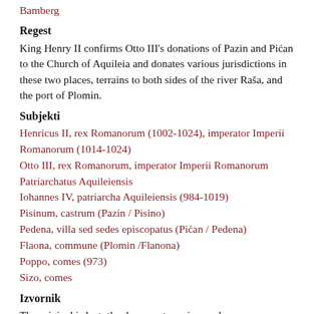Bamberg
Regest
King Henry II confirms Otto III's donations of Pazin and Pićan to the Church of Aquileia and donates various jurisdictions in these two places, terrains to both sides of the river Raša, and the port of Plomin.
Subjekti
Henricus II, rex Romanorum (1002-1024), imperator Imperii Romanorum (1014-1024)
Otto III, rex Romanorum, imperator Imperii Romanorum
Patriarchatus Aquileiensis
Iohannes IV, patriarcha Aquileiensis (984-1019)
Pisinum, castrum (Pazin / Pisino)
Pedena, villa sed sedes episcopatus (Pićan / Pedena)
Flaona, commune (Plomin /Flanona)
Poppo, comes (973)
Sizo, comes
Izvornik
The original is lost; the document survives only as a